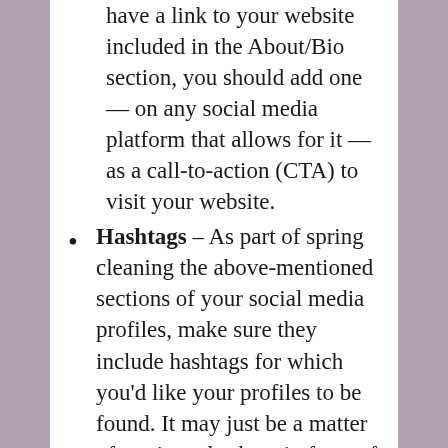have a link to your website included in the About/Bio section, you should add one — on any social media platform that allows for it — as a call-to-action (CTA) to visit your website.
Hashtags – As part of spring cleaning the above-mentioned sections of your social media profiles, make sure they include hashtags for which you'd like your profiles to be found. It may just be a matter of putting a hashtag in front of certain words that are already in the About/Bio section of your social media profile.
Following – Check to see who you've followed in the past, and determine which individuals and organizations it still makes sense to follow, based on how your organization has evolved. Since